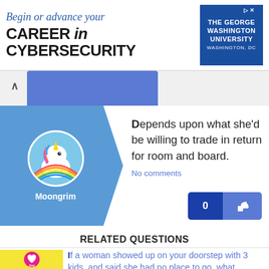[Figure (screenshot): Advertisement banner for The George Washington University cybersecurity program. Text reads: 'Begin or advance your CAREER in CYBERSECURITY' with the GWU logo and 'WASHINGTON, DC']
[Figure (screenshot): User answer card with avatar of Moongrim (unicorn image) on blue background with arrow shape. Answer text: 'Depends upon what she'd be willing to trade in return for room and board.' with No comments link and vote buttons showing 0.]
RELATED QUESTIONS
If a woman showed up on your doorstep with 3 kids, and said she had no place to go, what...